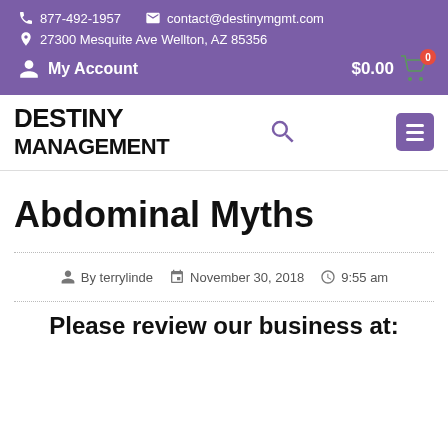877-492-1957  contact@destinymgmt.com  27300 Mesquite Ave Wellton, AZ 85356  My Account  $0.00
[Figure (logo): Destiny Management logo with search and menu icons]
Abdominal Myths
By terrylinde  November 30, 2018  9:55 am
Please review our business at: